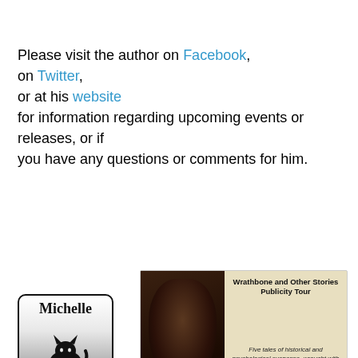Please visit the author on Facebook, on Twitter, or at his website for information regarding upcoming events or releases, or if you have any questions or comments for him.
[Figure (infographic): Promotional banner for 'Wrathbone and Other Stories Publicity Tour' by Jason Parent, showing book cover on left and tour details on right. Text reads: 'Wrathbone and Other Stories Publicity Tour — Five tales of historical and psychological suspense, wrought with emotions and images you won't soon forget. — #Wrathbone — Book of a Book Media & Publicity — Trin Al-Mehairi — www.bookidabook.wordpress.com']
[Figure (photo): Michelle badge/logo: white and grey background with black border and rounded corners, showing the name 'Michelle' in gothic/serif font at top and a black cat silhouette sitting below.]